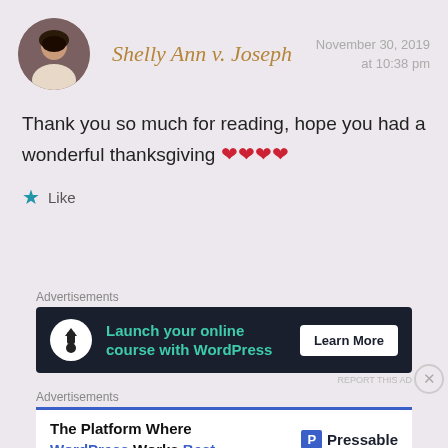Shelly Ann v. Joseph
November 30, 2019 at 10:38 pm
Thank you so much for reading, hope you had a wonderful thanksgiving ❤❤❤❤
Like
Advertisements
[Figure (screenshot): Dark advertisement banner: Launch your online course with WordPress. Learn More button.]
Advertisements
[Figure (screenshot): White advertisement banner: The Platform Where WordPress Works Best. Pressable logo.]